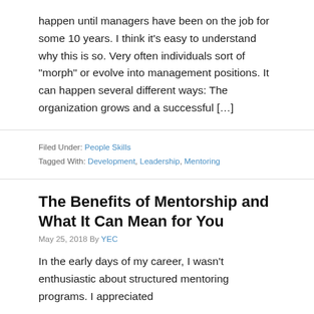happen until managers have been on the job for some 10 years. I think it’s easy to understand why this is so. Very often individuals sort of “morph” or evolve into management positions. It can happen several different ways: The organization grows and a successful […]
Filed Under: People Skills
Tagged With: Development, Leadership, Mentoring
The Benefits of Mentorship and What It Can Mean for You
May 25, 2018 By YEC
In the early days of my career, I wasn’t enthusiastic about structured mentoring programs. I appreciated